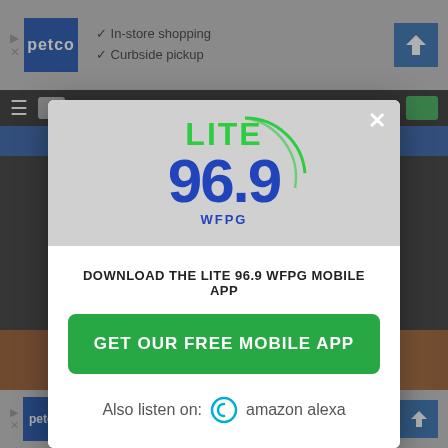[Figure (screenshot): Background webpage with dark overlay, Petco ad bars at top and bottom, and a modal popup for Lite 96.9 WFPG radio station mobile app download prompt. Modal contains station logo, download CTA text, green button, and Amazon Alexa listening option.]
DOWNLOAD THE LITE 96.9 WFPG MOBILE APP
GET OUR FREE MOBILE APP
Also listen on: amazon alexa